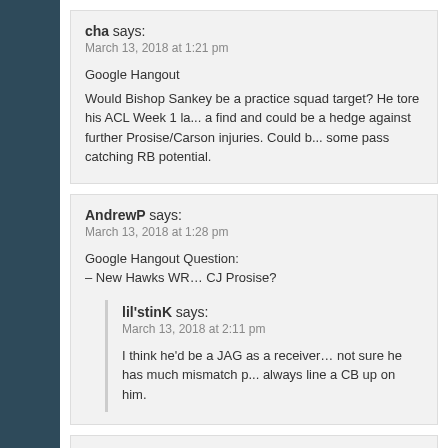cha says:
March 13, 2018 at 1:21 pm
Google Hangout
Would Bishop Sankey be a practice squad target? He tore his ACL Week 1 la... a find and could be a hedge against further Prosise/Carson injuries. Could b... some pass catching RB potential.
AndrewP says:
March 13, 2018 at 1:28 pm
Google Hangout Question:
– New Hawks WR… CJ Prosise?
lil'stinK says:
March 13, 2018 at 2:11 pm
I think he'd be a JAG as a receiver… not sure he has much mismatch p... always line a CB up on him.
Nick says:
March 13, 2018 at 1:28 pm
Brian Quick WR could be an option. He is FA and he played with Brian S in... and he's 6'4 220.